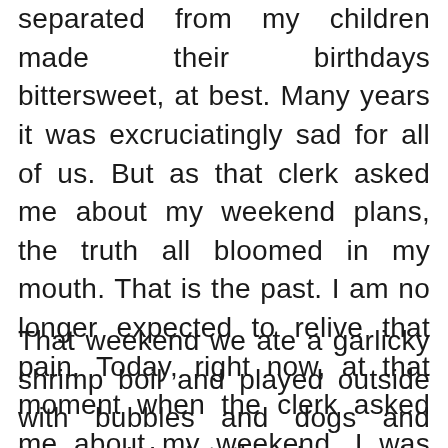separated from my children made their birthdays bittersweet, at best. Many years it was excruciatingly sad for all of us. But as that clerk asked me about my weekend plans, the truth all bloomed in my mouth. That is the past. I am no longer expected to relive that pain. Today, right now, at that moment when the clerk asked me about my weekend, I was free to enjoy party planning and family celebrations. She was home for real. I didn't spill all of this to the innocent clerk, of course, but I did gush about Jess to a stranger, and I did talk about our plans. She said, “That’s really nice.” Ha.
That weekend we ate a garlicky shrimp boil and played outside with bubbles and dogs and horses. We let the dogs swim and chase, and we all talked and laughed so much. Since we see each other pretty